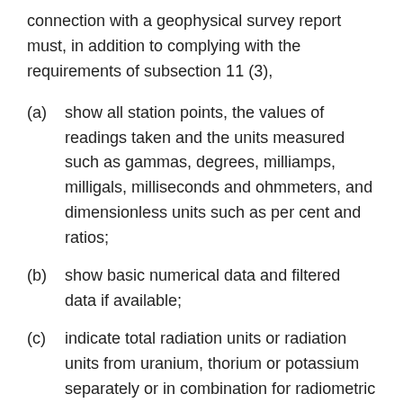connection with a geophysical survey report must, in addition to complying with the requirements of subsection 11 (3),
(a) show all station points, the values of readings taken and the units measured such as gammas, degrees, milliamps, milligals, milliseconds and ohmmeters, and dimensionless units such as per cent and ratios;
(b) show basic numerical data and filtered data if available;
(c) indicate total radiation units or radiation units from uranium, thorium or potassium separately or in combination for radiometric